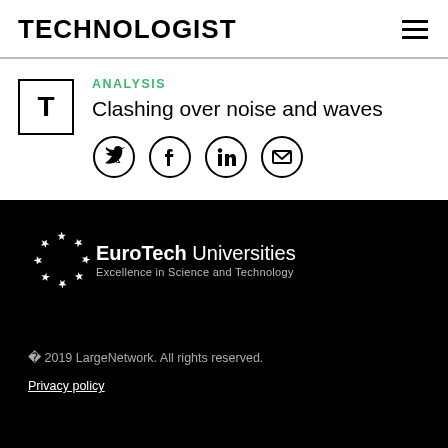TECHNOLOGIST
ANALYSIS
Clashing over noise and waves
[Figure (other): Social sharing icons: Twitter, Facebook, LinkedIn, Email]
[Figure (logo): EuroTech Universities — Excellence in Science and Technology logo with EU stars]
© 2019 LargeNetwork. All rights reserved.
Privacy policy